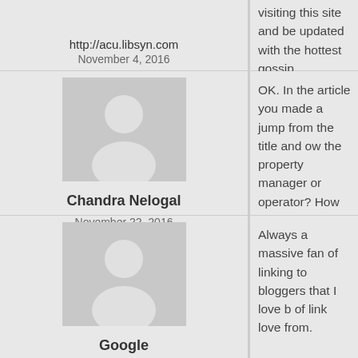[Figure (illustration): Gray placeholder avatar image for commenter with URL http://acu.libsyn.com]
http://acu.libsyn.com
November 4, 2016
visiting this site and be updated with the hottest gossip posted here.
[Figure (illustration): Gray placeholder avatar image for Chandra Nelogal]
Chandra Nelogal
November 22, 2016
OK. In the article you made a jump from the title and ow the property manager or operator? How does that happe Should there be a contract between the individual and th property leasing, management, rent collection etc.?
[Figure (illustration): Gray placeholder avatar image for Google]
Google
December 7, 2016
Always a massive fan of linking to bloggers that I love b of link love from.